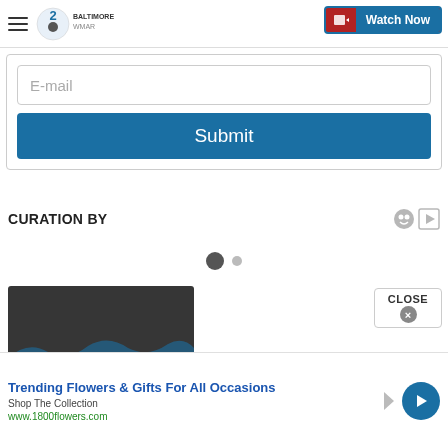2 WHAR BALTIMORE | Watch Now
E-mail
Submit
CURATION BY
[Figure (other): Pagination dots: one large dark dot and one small grey dot indicating carousel position]
[Figure (screenshot): Dark thumbnail preview of a video or stream]
CLOSE
Trending Flowers & Gifts For All Occasions
Shop The Collection
www.1800flowers.com